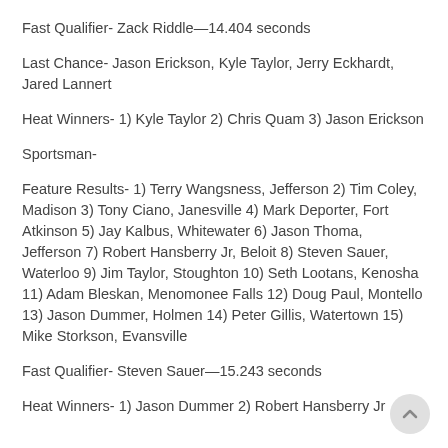Fast Qualifier- Zack Riddle—14.404 seconds
Last Chance- Jason Erickson, Kyle Taylor, Jerry Eckhardt, Jared Lannert
Heat Winners- 1) Kyle Taylor 2) Chris Quam 3) Jason Erickson
Sportsman-
Feature Results- 1) Terry Wangsness, Jefferson 2) Tim Coley, Madison 3) Tony Ciano, Janesville 4) Mark Deporter, Fort Atkinson 5) Jay Kalbus, Whitewater 6) Jason Thoma, Jefferson 7) Robert Hansberry Jr, Beloit 8) Steven Sauer, Waterloo 9) Jim Taylor, Stoughton 10) Seth Lootans, Kenosha 11) Adam Bleskan, Menomonee Falls 12) Doug Paul, Montello 13) Jason Dummer, Holmen 14) Peter Gillis, Watertown 15) Mike Storkson, Evansville
Fast Qualifier- Steven Sauer—15.243 seconds
Heat Winners- 1) Jason Dummer 2) Robert Hansberry Jr